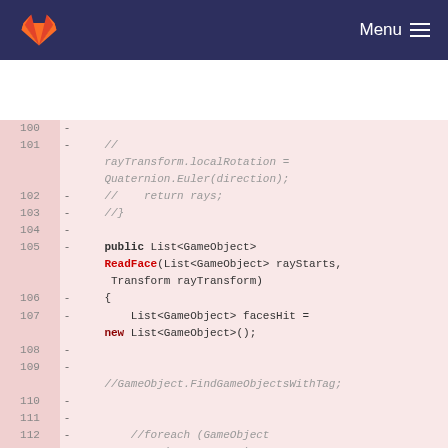GitLab – Menu
100  -
101  -     //
         rayTransform.localRotation =
         Quaternion.Euler(direction);
102  -     //     return rays;
103  -     //}
104  -
105  -     public List<GameObject>
         ReadFace(List<GameObject> rayStarts,
          Transform rayTransform)
106  -     {
107  -         List<GameObject> facesHit =
         new List<GameObject>();
108  -
109  -
         //GameObject.FindGameObjectsWithTag;
110  -
111  -
112  -         //foreach (GameObject
         rayStart in rayStarts)